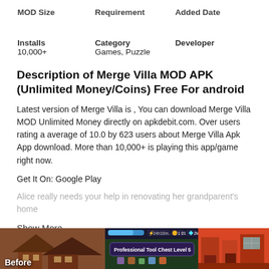| MOD Size | Requirement | Added Date |
| --- | --- | --- |
|  |  |  |
| Installs
10,000+ | Category
Games, Puzzle | Developer
 |
Description of Merge Villa MOD APK (Unlimited Money/Coins) Free For android
Latest version of Merge Villa is , You can download Merge Villa MOD Unlimited Money directly on apkdebit.com. Over users rating a average of 10.0 by 623 users about Merge Villa Apk App download. More than 10,000+ is playing this app/game right now.
Get It On: Google Play
Alice really needs your help in renovating her grandparent's home
Show More... ∨
[Figure (screenshot): Three game screenshots at bottom: left shows a house exterior with 'Before' label, middle shows game UI with 'Professional Tool Chest Level 5', right shows game interior in orange-red tones.]